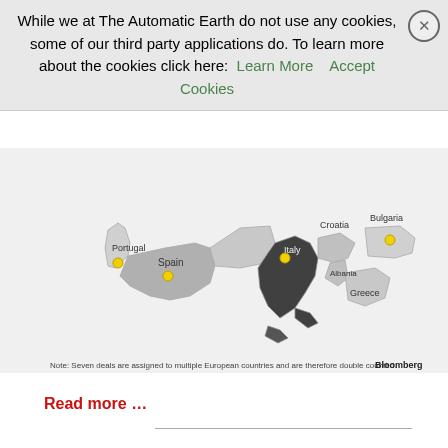While we at The Automatic Earth do not use any cookies, some of our third party applications do. To learn more about the cookies click here: Learn More   Accept Cookies
[Figure (map): Map of southern Europe showing countries including Portugal, Spain, Italy, Croatia, Bulgaria, Albania, Greece. Italy is highlighted in dark grey. Yellow dot markers placed on Portugal, Spain, Italy, and Bulgaria. Note: Seven deals are assigned to multiple European countries and are therefore double counted. Bloomberg]
Read more …
They still have to get them somewhere, one would assume.
China Shuns US Soybeans (BBG)
The world's biggest oilseed processor just confirmed one of the soybean market's biggest fears: China has essentially stopped buying
[Figure (photo): Advertisement: Dickies® | Official Site | Workwear & Apparel. Photo of leather furniture/chair in brown/red. for work pants, work shirts, overalls, and coveralls. www.dickies.com. Arrow button on right side.]